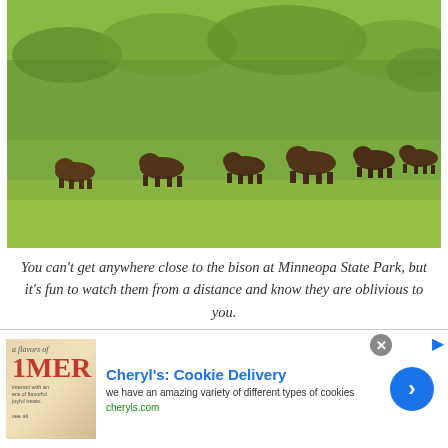[Figure (photo): A herd of bison grazing in a lush green field at Minneopa State Park, viewed from a distance. The animals appear as dark brown shapes scattered across a landscape of tall green grass and shrubs.]
You can't get anywhere close to the bison at Minneopa State Park, but it's fun to watch them from a distance and know they are oblivious to you.
I watched the bison for about half an hour and they were in constant motion. Graze a bit, walk a bit, graze, walk, repeat. No sudden movement, but a constant flow toward the east, led by a big bull and
[Figure (screenshot): Advertisement banner for Cheryl's: Cookie Delivery. Shows product image on left, ad title 'Cheryl's: Cookie Delivery' in blue, description 'we have an amazing variety of different types of cookies', URL 'cheryls.com' in green, and a blue circular call-to-action arrow button on the right. Close button (X) in grey circle at top.]